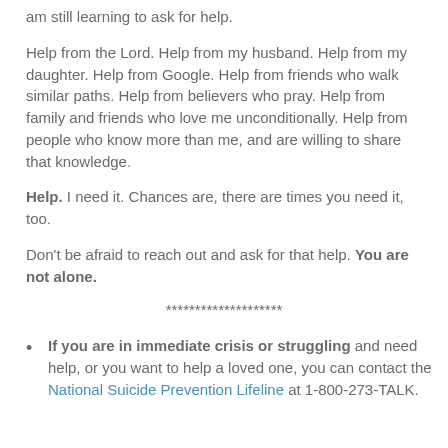am still learning to ask for help.
Help from the Lord. Help from my husband. Help from my daughter. Help from Google. Help from friends who walk similar paths. Help from believers who pray. Help from family and friends who love me unconditionally. Help from people who know more than me, and are willing to share that knowledge.
Help. I need it. Chances are, there are times you need it, too.
Don't be afraid to reach out and ask for that help. You are not alone.
********************
If you are in immediate crisis or struggling and need help, or you want to help a loved one, you can contact the National Suicide Prevention Lifeline at 1-800-273-TALK.